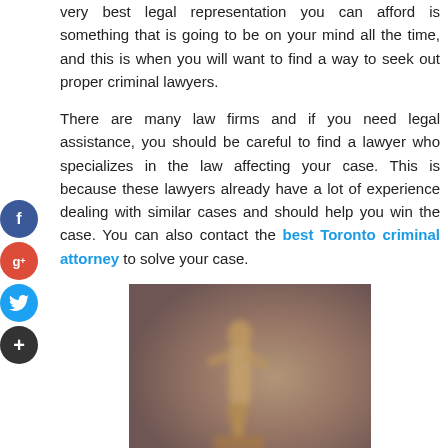very best legal representation you can afford is something that is going to be on your mind all the time, and this is when you will want to find a way to seek out proper criminal lawyers.
There are many law firms and if you need legal assistance, you should be careful to find a lawyer who specializes in the law affecting your case. This is because these lawyers already have a lot of experience dealing with similar cases and should help you win the case. You can also contact the best Toronto criminal attorney to solve your case.
[Figure (photo): A blurred golden statue or figurine, possibly a justice or award statue, with a warm brownish background]